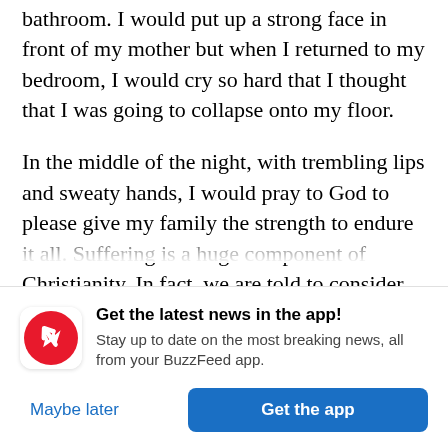bathroom. I would put up a strong face in front of my mother but when I returned to my bedroom, I would cry so hard that I thought that I was going to collapse onto my floor.
In the middle of the night, with trembling lips and sweaty hands, I would pray to God to please give my family the strength to endure it all. Suffering is a huge component of Christianity. In fact, we are told to consider everything to be OK when we suffer, for like gold, our souls are refined through the fire and [text continues]
[Figure (logo): BuzzFeed News app notification prompt with red circular logo showing white upward arrow, title 'Get the latest news in the app!', subtitle 'Stay up to date on the most breaking news, all from your BuzzFeed app.', and two buttons: 'Maybe later' and 'Get the app']